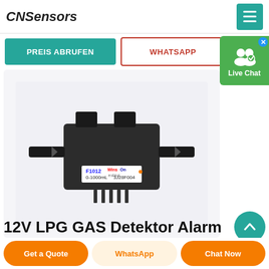CNSensors
PREIS ABRUFEN
WHATSAPP
Live Chat
[Figure (photo): A black electronic flow sensor module labeled F1012, WinsOn, 0-1000mL, 3J28F004, with side inlet/outlet tubes and bottom connector pins]
12V LPG GAS Detektor Alarm
Get a Quote
WhatsApp
Chat Now